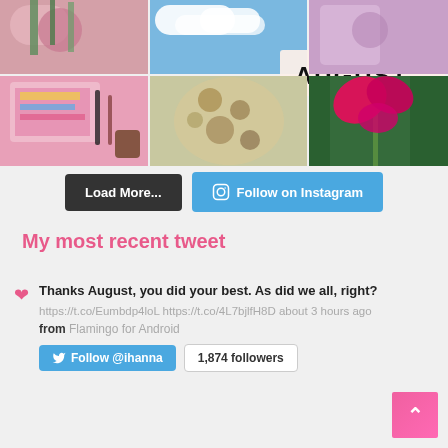[Figure (photo): Instagram grid mosaic showing multiple photos: pink drinks with herbs, cloudy sky, illustrated art, pink art journal pages, floral dress, and pink flower on green background. 'AUGUST' text overlay on top-right area.]
Load More...
Follow on Instagram
My most recent tweet
Thanks August, you did your best. As did we all, right? https://t.co/Eumbdp4loL https://t.co/4L7bjlfH8D about 3 hours ago from Flamingo for Android
Follow @ihanna
1,874 followers